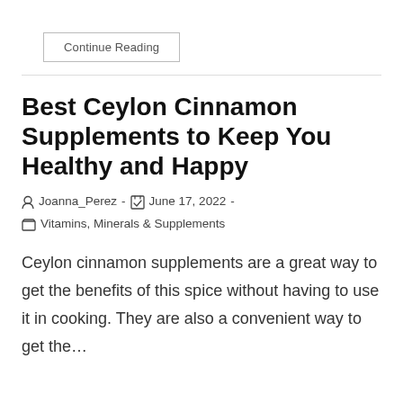Continue Reading
Best Ceylon Cinnamon Supplements to Keep You Healthy and Happy
Joanna_Perez - June 17, 2022 - Vitamins, Minerals & Supplements
Ceylon cinnamon supplements are a great way to get the benefits of this spice without having to use it in cooking. They are also a convenient way to get the…